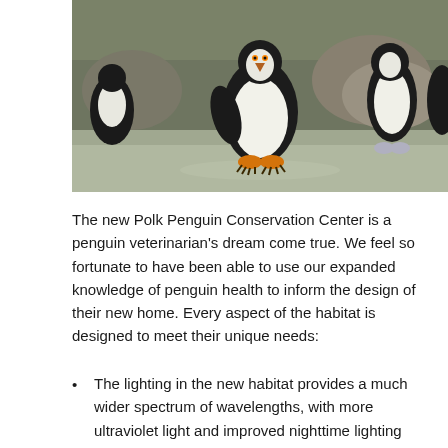[Figure (photo): Photograph of several penguins in an indoor zoo habitat. A central penguin faces the camera directly showing its white belly and orange/yellow feet. Other penguins are visible on the left and right sides. The floor is wet concrete and there are rocks in the background.]
The new Polk Penguin Conservation Center is a penguin veterinarian's dream come true. We feel so fortunate to have been able to use our expanded knowledge of penguin health to inform the design of their new home. Every aspect of the habitat is designed to meet their unique needs:
The lighting in the new habitat provides a much wider spectrum of wavelengths, with more ultraviolet light and improved nighttime lighting